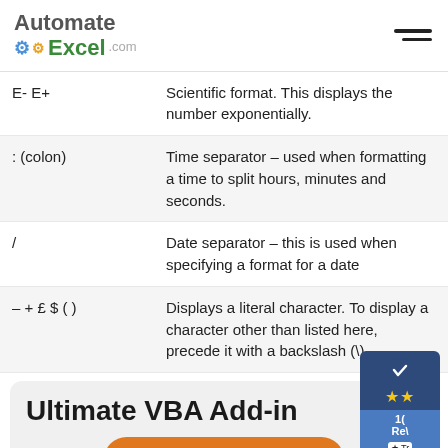[Figure (logo): AutomateExcel.com logo with gear icons and hamburger menu]
| Symbol | Description |
| --- | --- |
| E- E+ | Scientific format. This displays the number exponentially. |
| : (colon) | Time separator – used when formatting a time to split hours, minutes and seconds. |
| / | Date separator – this is used when specifying a format for a date |
| – + £ $ ( ) | Displays a literal character. To display a character other than listed here, precede it with a backslash (\) |
Ultimate VBA Add-in
$30 off - Sale!
Offer expires soon!